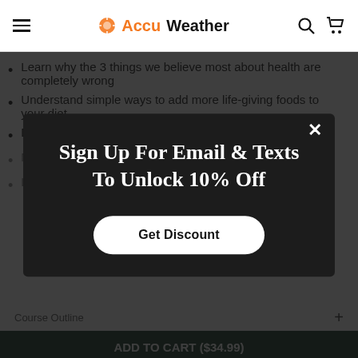AccuWeather
Learn why the 3 things we believe most about health are completely wrong
Understand simple ways to add more life-giving foods to your diet
Discover the food ingredient that's harming your health
Make an "Insider Daily Drink"
Learn 3 simple ways to multiply the nutrition of every meal
Course Outline
Sign Up For Email & Texts To Unlock 10% Off
Get Discount
ADD TO CART ($34.99)